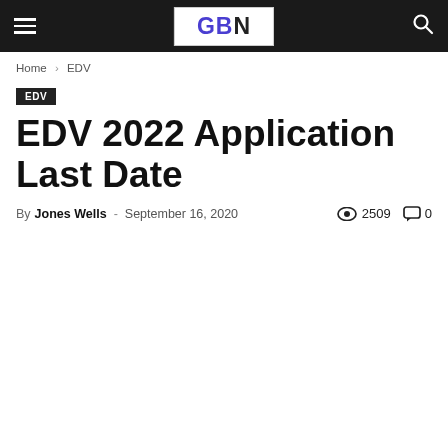GBN [logo] — navigation bar with hamburger menu and search icon
Home › EDV
EDV
EDV 2022 Application Last Date
By Jones Wells - September 16, 2020  2509  0